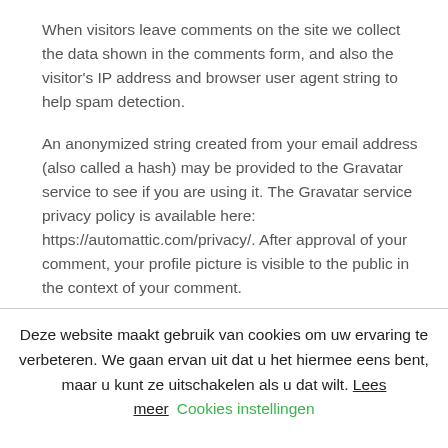When visitors leave comments on the site we collect the data shown in the comments form, and also the visitor's IP address and browser user agent string to help spam detection.
An anonymized string created from your email address (also called a hash) may be provided to the Gravatar service to see if you are using it. The Gravatar service privacy policy is available here: https://automattic.com/privacy/. After approval of your comment, your profile picture is visible to the public in the context of your comment.
Deze website maakt gebruik van cookies om uw ervaring te verbeteren. We gaan ervan uit dat u het hiermee eens bent, maar u kunt ze uitschakelen als u dat wilt. Lees meer   Cookies instellingen
OK